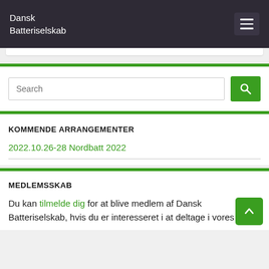Dansk Batteriselskab
KOMMENDE ARRANGEMENTER
2022.10.26-28 Nordbatt 2022
MEDLEMSSKAB
Du kan tilmelde dig for at blive medlem af Dansk Batteriselskab, hvis du er interesseret i at deltage i vores